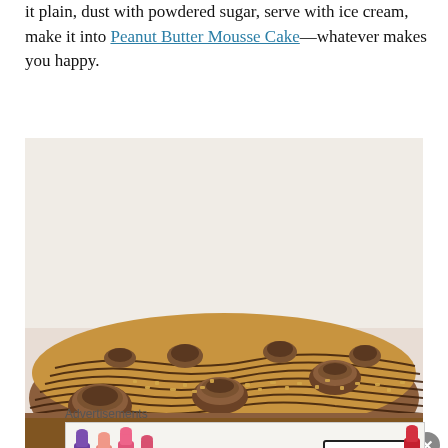it plain, dust with powdered sugar, serve with ice cream, make it into Peanut Butter Mousse Cake—whatever makes you happy.
[Figure (photo): Close-up photo of a round chocolate peanut butter cake topped with chocolate drizzle, chopped peanuts, and Reese's peanut butter cups arranged around the edge.]
Advertisements
[Figure (photo): MAC cosmetics advertisement showing colorful lipsticks on the left, MAC logo in the center, and a SHOP NOW button with a red lipstick on the right.]